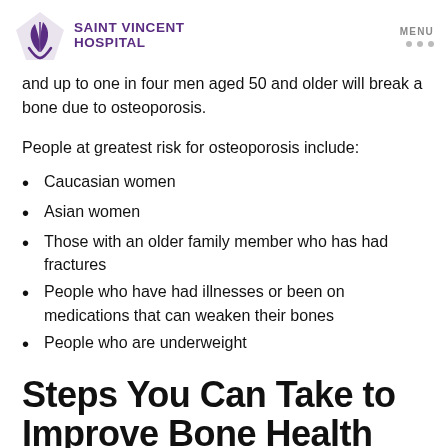Saint Vincent Hospital | MENU
and up to one in four men aged 50 and older will break a bone due to osteoporosis.
People at greatest risk for osteoporosis include:
Caucasian women
Asian women
Those with an older family member who has had fractures
People who have had illnesses or been on medications that can weaken their bones
People who are underweight
Steps You Can Take to Improve Bone Health